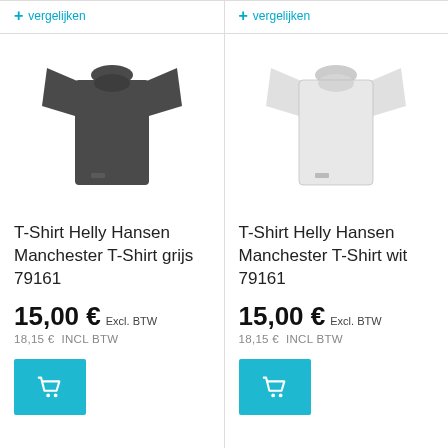+ vergelijken
+ vergelijken
[Figure (photo): Dark grey Helly Hansen Manchester T-Shirt]
T-Shirt Helly Hansen Manchester T-Shirt grijs 79161
15,00 € Excl. BTW
18,15 €  INCL BTW
[Figure (photo): White Helly Hansen Manchester T-Shirt]
T-Shirt Helly Hansen Manchester T-Shirt wit 79161
15,00 € Excl. BTW
18,15 €  INCL BTW